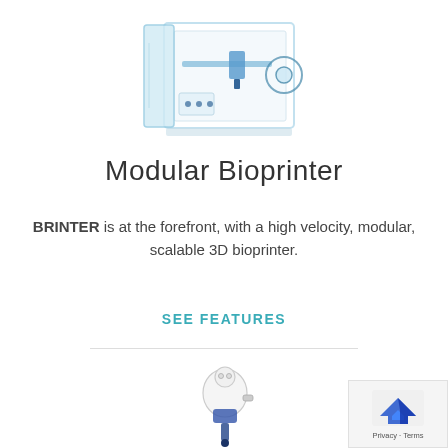[Figure (photo): Photo of a transparent/acrylic modular 3D bioprinter machine with blue accents, partially open, showing internal components.]
Modular Bioprinter
BRINTER is at the forefront, with a high velocity, modular, scalable 3D bioprinter.
SEE FEATURES
[Figure (photo): Photo of a smaller robotic or bioprinter device/printhead component in white and blue.]
[Figure (logo): Google privacy badge with blue/dark blue arrow logo icon and text 'Privacy - Terms']